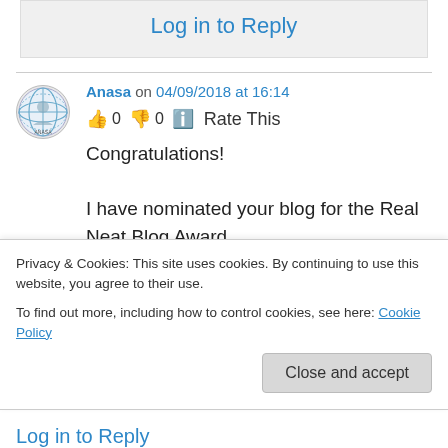Log in to Reply
Anasa on 04/09/2018 at 16:14
👍 0 👎 0 ℹ Rate This
Congratulations!
I have nominated your blog for the Real Neat Blog Award.
More about this nomination is at
Privacy & Cookies: This site uses cookies. By continuing to use this website, you agree to their use.
To find out more, including how to control cookies, see here: Cookie Policy
Close and accept
Log in to Reply